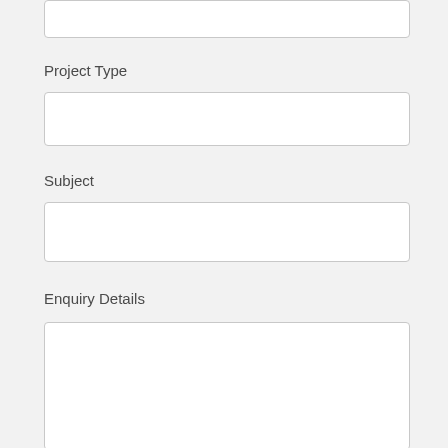[Figure (other): Empty input field box at top of page]
Project Type
[Figure (other): Empty input field for Project Type]
Subject
[Figure (other): Empty input field for Subject]
Enquiry Details
[Figure (other): Large empty text area for Enquiry Details]